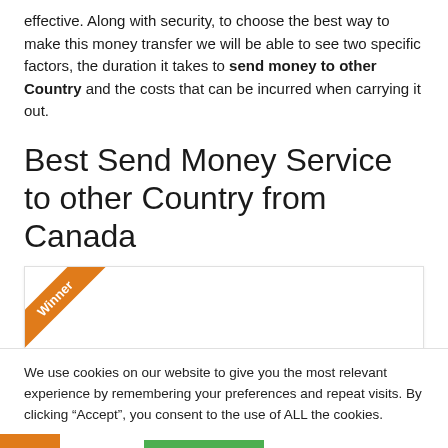effective. Along with security, to choose the best way to make this money transfer we will be able to see two specific factors, the duration it takes to send money to other Country and the costs that can be incurred when carrying it out.
Best Send Money Service to other Country from Canada
[Figure (illustration): A card/box with an orange 'Winner' ribbon banner in the top-left corner]
We use cookies on our website to give you the most relevant experience by remembering your preferences and repeat visits. By clicking “Accept”, you consent to the use of ALL the cookies.
Cookie settings   ACCEPT